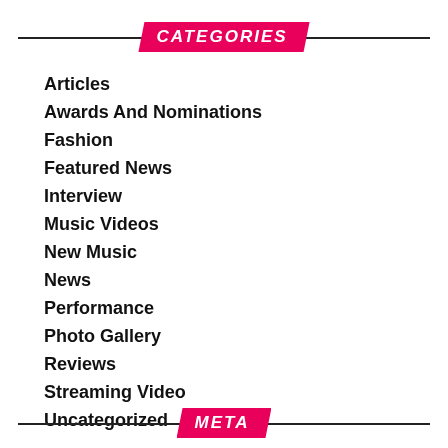CATEGORIES
Articles
Awards And Nominations
Fashion
Featured News
Interview
Music Videos
New Music
News
Performance
Photo Gallery
Reviews
Streaming Video
Uncategorized
META